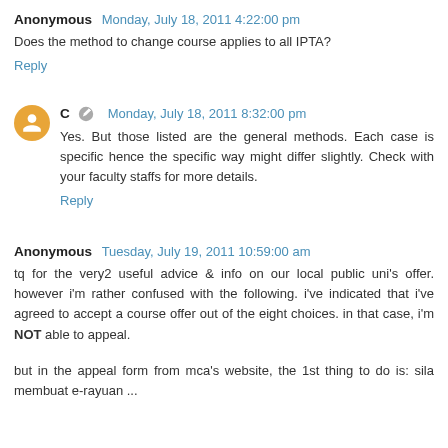Anonymous  Monday, July 18, 2011 4:22:00 pm
Does the method to change course applies to all IPTA?
Reply
C  Monday, July 18, 2011 8:32:00 pm
Yes. But those listed are the general methods. Each case is specific hence the specific way might differ slightly. Check with your faculty staffs for more details.
Reply
Anonymous  Tuesday, July 19, 2011 10:59:00 am
tq for the very2 useful advice & info on our local public uni's offer. however i'm rather confused with the following. i've indicated that i've agreed to accept a course offer out of the eight choices. in that case, i'm NOT able to appeal.
but in the appeal form from mca's website, the 1st thing to do is: sila membuat e-rayuan ...